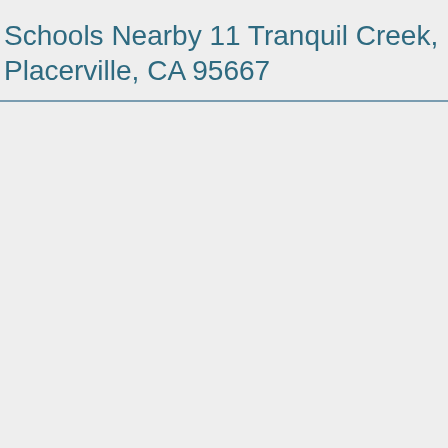Schools Nearby 11 Tranquil Creek, Placerville, CA 95667